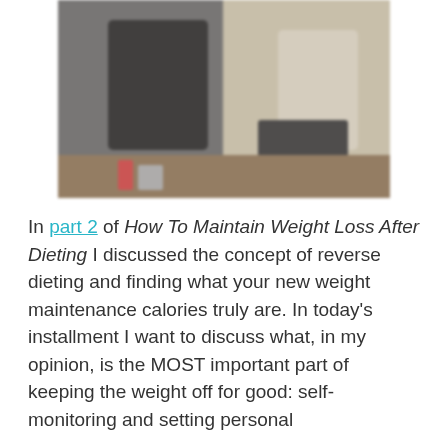[Figure (photo): Blurred before-and-after style photograph of a person, with blurred background showing indoor setting]
In part 2 of How To Maintain Weight Loss After Dieting I discussed the concept of reverse dieting and finding what your new weight maintenance calories truly are. In today's installment I want to discuss what, in my opinion, is the MOST important part of keeping the weight off for good: self-monitoring and setting personal